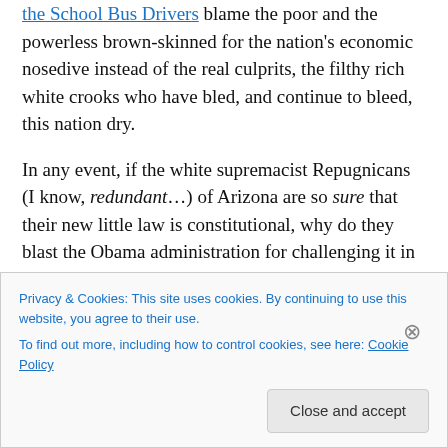the School Bus Drivers blame the poor and the powerless brown-skinned for the nation's economic nosedive instead of the real culprits, the filthy rich white crooks who have bled, and continue to bleed, this nation dry.
In any event, if the white supremacist Repugnicans (I know, redundant…) of Arizona are so sure that their new little law is constitutional, why do they blast the Obama administration for challenging it in the federal court system?
Surely if they're right, they'll be vindicated legally.
Privacy & Cookies: This site uses cookies. By continuing to use this website, you agree to their use.
To find out more, including how to control cookies, see here: Cookie Policy
Close and accept